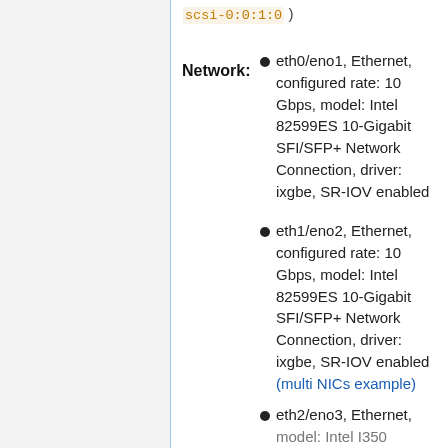scsi-0:0:1:0 )
Network:
eth0/eno1, Ethernet, configured rate: 10 Gbps, model: Intel 82599ES 10-Gigabit SFI/SFP+ Network Connection, driver: ixgbe, SR-IOV enabled
eth1/eno2, Ethernet, configured rate: 10 Gbps, model: Intel 82599ES 10-Gigabit SFI/SFP+ Network Connection, driver: ixgbe, SR-IOV enabled (multi NICs example)
eth2/eno3, Ethernet, model: Intel I350 Gigabit Network Connection, driver: igb